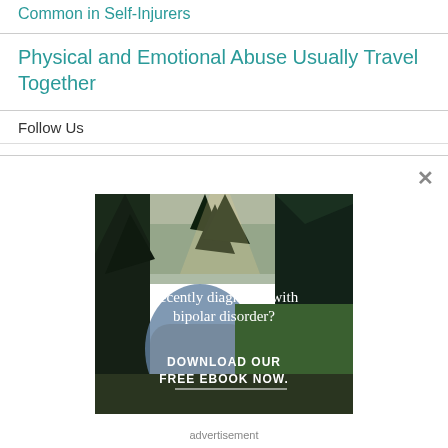Common in Self-Injurers
Physical and Emotional Abuse Usually Travel Together
Follow Us
[Figure (photo): Advertisement image showing a forest scene with a river path, text overlay reading 'Recently diagnosed with bipolar disorder? DOWNLOAD OUR FREE EBOOK NOW.' with a white underline.]
advertisement